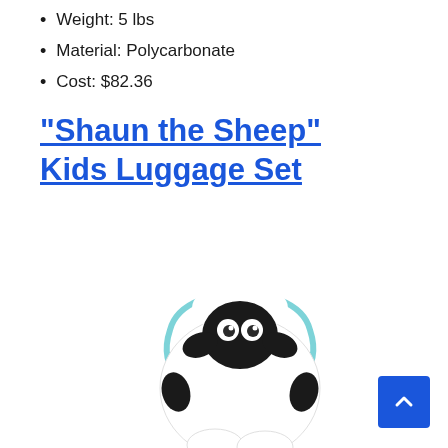Weight: 5 lbs
Material: Polycarbonate
Cost: $82.36
“Shaun the Sheep” Kids Luggage Set
[Figure (photo): Shaun the Sheep character luggage set — a stylized sheep figure with white body, black face and ears, white fluffy wool on top, and light blue luggage handle/strap around it. Partially cropped at bottom.]